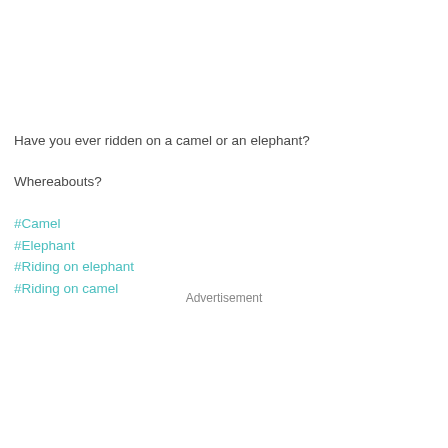Have you ever ridden on a camel or an elephant?
Whereabouts?
#Camel
#Elephant
#Riding on elephant
#Riding on camel
Advertisement